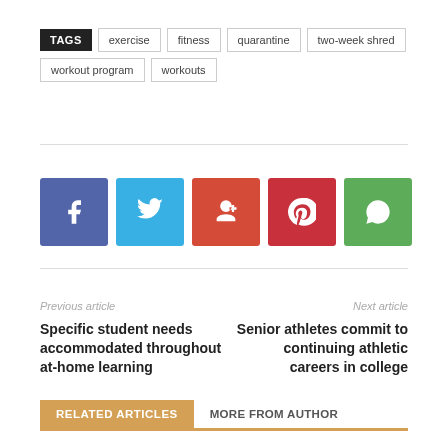TAGS  exercise  fitness  quarantine  two-week shred  workout program  workouts
[Figure (infographic): Social share buttons: Facebook (blue), Twitter (light blue), Google+ (orange-red), Pinterest (red), WhatsApp (green)]
Previous article
Specific student needs accommodated throughout at-home learning
Next article
Senior athletes commit to continuing athletic careers in college
RELATED ARTICLES  MORE FROM AUTHOR